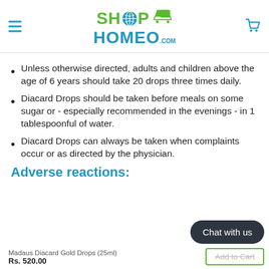SHOPHOMEO.COM
Unless otherwise directed, adults and children above the age of 6 years should take 20 drops three times daily.
Diacard Drops should be taken before meals on some sugar or - especially recommended in the evenings - in 1 tablespoonful of water.
Diacard Drops can always be taken when complaints occur or as directed by the physician.
Adverse reactions:
Madaus Diacard Gold Drops (25ml)
Rs. 520.00